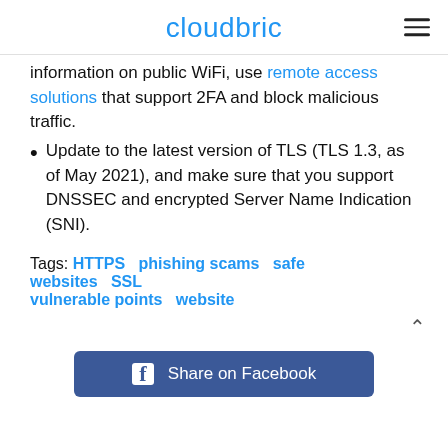cloudbric
information on public WiFi, use remote access solutions that support 2FA and block malicious traffic.
Update to the latest version of TLS (TLS 1.3, as of May 2021), and make sure that you support DNSSEC and encrypted Server Name Indication (SNI).
Tags: HTTPS  phishing scams  safe websites  SSL vulnerable points  website
[Figure (other): Share on Facebook button]